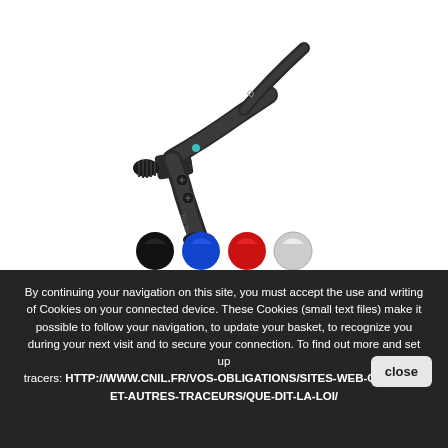[Figure (photo): Black bicycle brake lever product photo (Box Three brand) on white background]
[Figure (illustration): Four color swatches: black, blue, red, and white/silver, shown as circles]
By continuing your navigation on this site, you must accept the use and writing of Cookies on your connected device. These Cookies (small text files) make it possible to follow your navigation, to update your basket, to recognize you during your next visit and to secure your connection. To find out more and set up tracers: HTTP://WWW.CNIL.FR/VOS-OBLIGATIONS/SITES-WEB-COOKIES-ET-AUTRES-TRACEURS/QUE-DIT-LA-LOI/